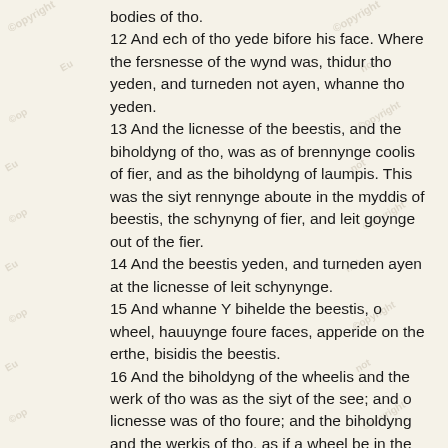bodies of tho. 12 And ech of tho yede bifore his face. Where the fersnesse of the wynd was, thidur tho yeden, and turneden not ayen, whanne tho yeden. 13 And the licnesse of the beestis, and the biholdyng of tho, was as of brennynge coolis of fier, and as the biholdyng of laumpis. This was the siyt rennynge aboute in the myddis of beestis, the schynyng of fier, and leit goynge out of the fier. 14 And the beestis yeden, and turneden ayen at the licnesse of leit schynynge. 15 And whanne Y bihelde the beestis, o wheel, hauuynge foure faces, apperide on the erthe, bisidis the beestis. 16 And the biholdyng of the wheelis and the werk of tho was as the siyt of the see; and o licnesse was of tho foure; and the biholdyng and the werkis of tho, as if a wheel be in the myddis of a wheel. 17 Tho goynge yeden bi foure partis of tho, and turneden not ayen, whanne tho yeden. 18 Also stature, and hiynesse, and orible biholdyng was to the wheelis; and al the bodi was ful of iyen in the cumpas of tho foure.